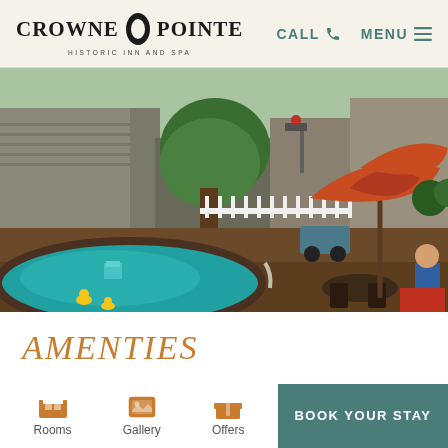Crowne Pointe Historic Inn And Spa | CALL | MENU
[Figure (photo): Outdoor pool area of Crowne Pointe Historic Inn and Spa, showing a kidney-shaped pool with a waterfall feature, rubber ducks, red patio umbrellas, outdoor dining furniture, surrounding buildings, white picket fence, and lush greenery on a sunny day.]
AMENTIES
Rooms
Gallery
Offers
BOOK YOUR STAY